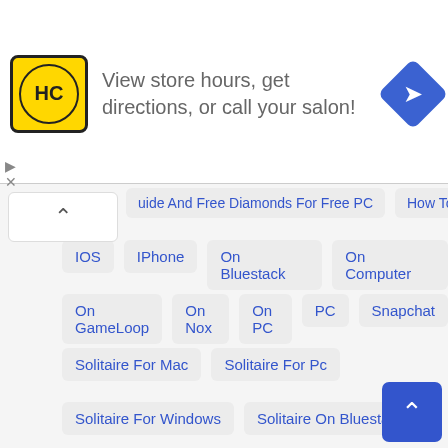[Figure (other): Advertisement banner: HC logo (yellow circle with HC text), text 'View store hours, get directions, or call your salon!', blue diamond navigation icon, close button with play/X icons]
uide And Free Diamonds For Free PC
How To
IOS
IPhone
On Bluestack
On Computer
On GameLoop
On Nox
On PC
PC
Snapchat
Solitaire For Mac
Solitaire For Pc
Solitaire For Windows
Solitaire On Bluestack
Solitaire On Computer
Solitaire On GameLoop
Solitaire On Nox
Solitaire On PC
Solitaire PC
Solitaire Using Emulator
Using Emulator
WhatsApp
Windows
Windows 10